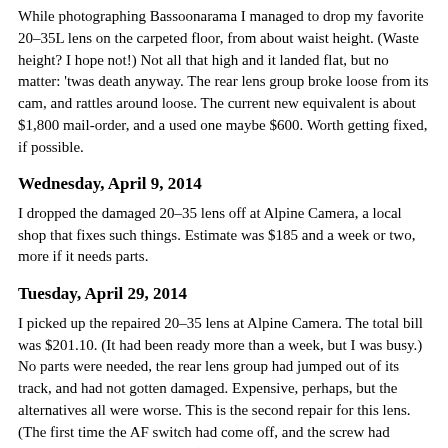While photographing Bassoonarama I managed to drop my favorite 20–35L lens on the carpeted floor, from about waist height. (Waste height? I hope not!) Not all that high and it landed flat, but no matter: 'twas death anyway. The rear lens group broke loose from its cam, and rattles around loose. The current new equivalent is about $1,800 mail-order, and a used one maybe $600. Worth getting fixed, if possible.
Wednesday, April 9, 2014
I dropped the damaged 20–35 lens off at Alpine Camera, a local shop that fixes such things. Estimate was $185 and a week or two, more if it needs parts.
Tuesday, April 29, 2014
I picked up the repaired 20–35 lens at Alpine Camera. The total bill was $201.10. (It had been ready more than a week, but I was busy.) No parts were needed, the rear lens group had jumped out of its track, and had not gotten damaged. Expensive, perhaps, but the alternatives all were worse. This is the second repair for this lens. (The first time the AF switch had come off, and the screw had dropped down inside the lens.)
Friday, September 26, 2014